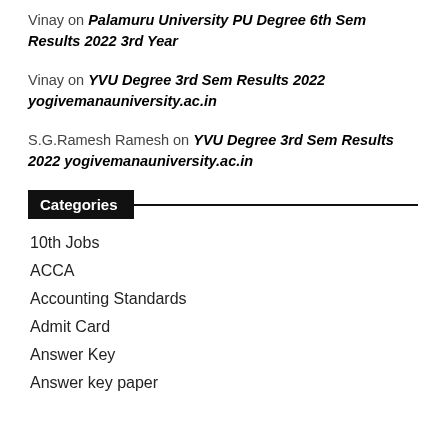Vinay on Palamuru University PU Degree 6th Sem Results 2022 3rd Year
Vinay on YVU Degree 3rd Sem Results 2022 yogivemanauniversity.ac.in
S.G.Ramesh Ramesh on YVU Degree 3rd Sem Results 2022 yogivemanauniversity.ac.in
Categories
10th Jobs
ACCA
Accounting Standards
Admit Card
Answer Key
Answer key paper